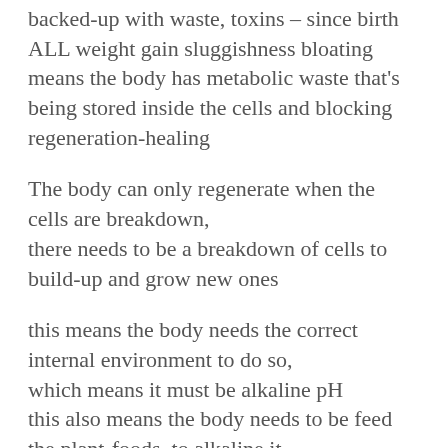backed-up with waste, toxins – since birth ALL weight gain sluggishness bloating means the body has metabolic waste that's being stored inside the cells and blocking regeneration-healing
The body can only regenerate when the cells are breakdown,
there needs to be a breakdown of cells to build-up and grow new ones
this means the body needs the correct internal environment to do so,
which means it must be alkaline pH
this also means the body needs to be feed the plant-foods, to alkaline it,
As light beings – soul beings,